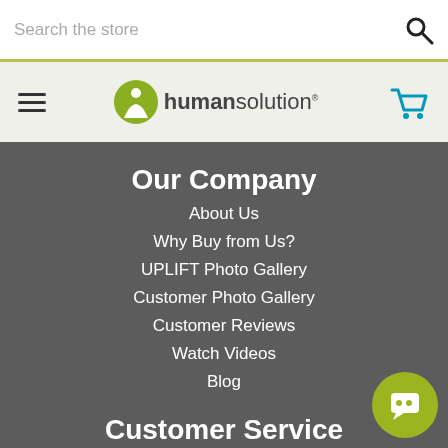Search the store
[Figure (logo): Human Solution logo with green circle icon and text 'humansolution']
Our Company
About Us
Why Buy from Us?
UPLIFT Photo Gallery
Customer Photo Gallery
Customer Reviews
Watch Videos
Blog
Customer Service
Contact Us
Track Your Order
FAQs